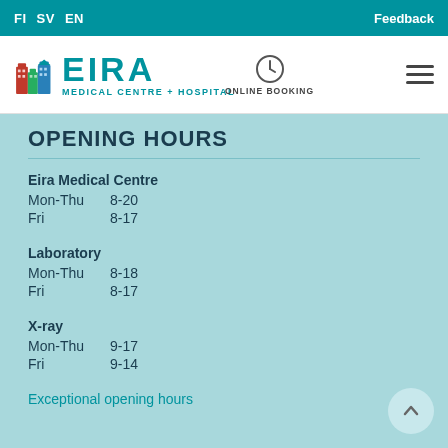FI  SV  EN  Feedback
[Figure (logo): Eira Medical Centre + Hospital logo with colorful building icon and teal EIRA text]
OPENING HOURS
Eira Medical Centre
Mon-Thu  8-20
Fri  8-17
Laboratory
Mon-Thu  8-18
Fri  8-17
X-ray
Mon-Thu  9-17
Fri  9-14
Exceptional opening hours